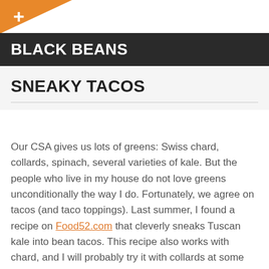BLACK BEANS
SNEAKY TACOS
Our CSA gives us lots of greens: Swiss chard, collards, spinach, several varieties of kale. But the people who live in my house do not love greens unconditionally the way I do. Fortunately, we agree on tacos (and taco toppings). Last summer, I found a recipe on Food52.com that cleverly sneaks Tuscan kale into bean tacos. This recipe also works with chard, and I will probably try it with collards at some point. The beans and spices tame the assortive flavor of the greens. Wrap the filling and